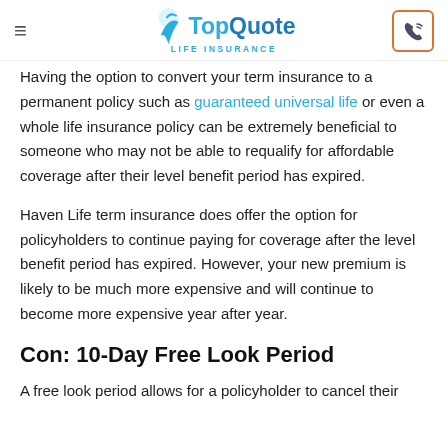TopQuote Life Insurance
Having the option to convert your term insurance to a permanent policy such as guaranteed universal life or even a whole life insurance policy can be extremely beneficial to someone who may not be able to requalify for affordable coverage after their level benefit period has expired.
Haven Life term insurance does offer the option for policyholders to continue paying for coverage after the level benefit period has expired. However, your new premium is likely to be much more expensive and will continue to become more expensive year after year.
Con: 10-Day Free Look Period
A free look period allows for a policyholder to cancel their